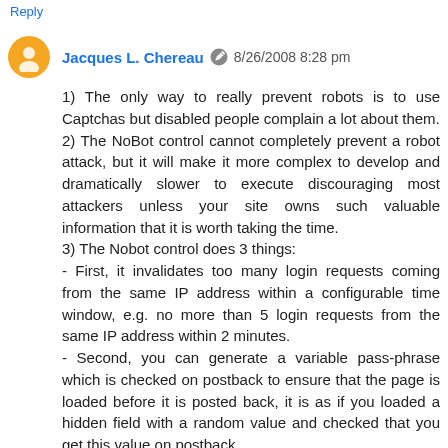Reply
Jacques L. Chereau  8/26/2008 8:28 pm
1) The only way to really prevent robots is to use Captchas but disabled people complain a lot about them.
2) The NoBot control cannot completely prevent a robot attack, but it will make it more complex to develop and dramatically slower to execute discouraging most attackers unless your site owns such valuable information that it is worth taking the time.
3) The Nobot control does 3 things:
- First, it invalidates too many login requests coming from the same IP address within a configurable time window, e.g. no more than 5 login requests from the same IP address within 2 minutes.
- Second, you can generate a variable pass-phrase which is checked on postback to ensure that the page is loaded before it is posted back, it is as if you loaded a hidden field with a random value and checked that you get this value on postback.
- Third, you can ensure that a minimum time is spent between the time the page loads and the time it is posted